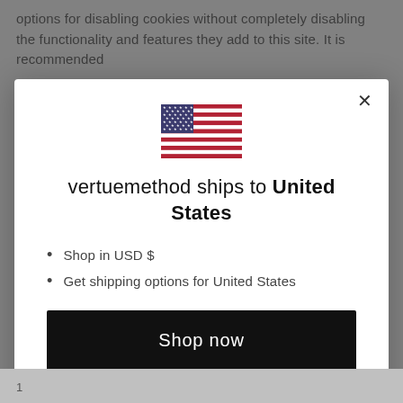options for disabling cookies without completely disabling the functionality and features they add to this site. It is recommended
[Figure (screenshot): Modal dialog showing US flag and shipping options for vertuemethod to United States]
vertuemethod ships to United States
Shop in USD $
Get shipping options for United States
Shop now
Change shipping country